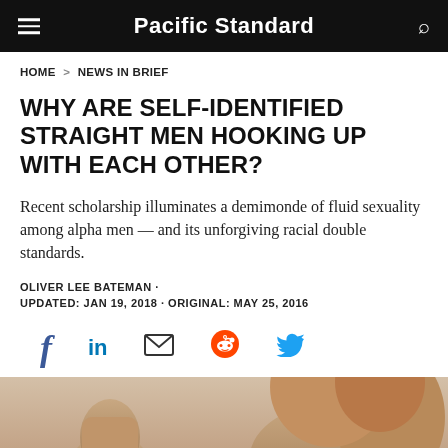Pacific Standard
HOME > NEWS IN BRIEF
WHY ARE SELF-IDENTIFIED STRAIGHT MEN HOOKING UP WITH EACH OTHER?
Recent scholarship illuminates a demimonde of fluid sexuality among alpha men — and its unforgiving racial double standards.
OLIVER LEE BATEMAN ·
UPDATED: JAN 19, 2018 · ORIGINAL: MAY 25, 2016
[Figure (infographic): Social sharing icons: Facebook, LinkedIn, Email, Reddit, Twitter]
[Figure (photo): Partial view of shirtless male figures, one showing a raised fist, against a light background]